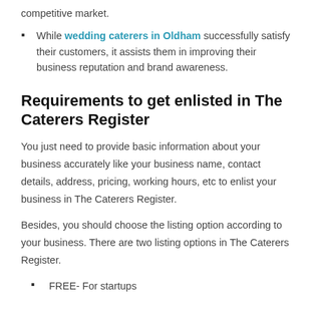shortens and improving higher ROI from the competitive market.
While wedding caterers in Oldham successfully satisfy their customers, it assists them in improving their business reputation and brand awareness.
Requirements to get enlisted in The Caterers Register
You just need to provide basic information about your business accurately like your business name, contact details, address, pricing, working hours, etc to enlist your business in The Caterers Register.
Besides, you should choose the listing option according to your business. There are two listing options in The Caterers Register.
FREE- For startups